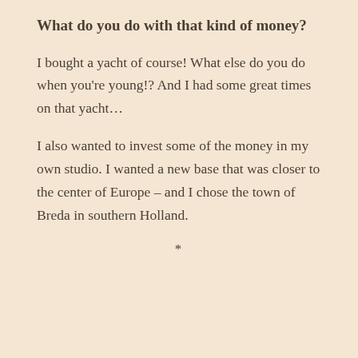What do you do with that kind of money?
I bought a yacht of course! What else do you do when you're young!? And I had some great times on that yacht…
I also wanted to invest some of the money in my own studio. I wanted a new base that was closer to the center of Europe – and I chose the town of Breda in southern Holland.
*